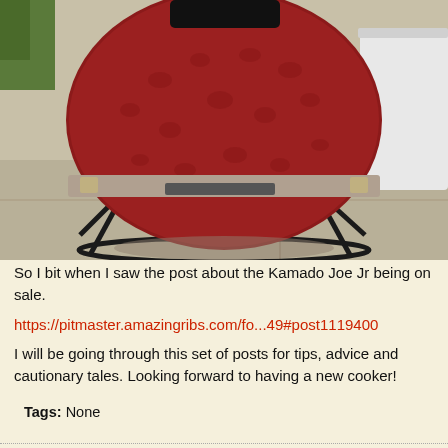[Figure (photo): Photo of a red Kamado Joe Jr ceramic grill on a black metal stand, sitting on a concrete patio outdoors. A white bucket is visible on the right side.]
So I bit when I saw the post about the Kamado Joe Jr being on sale.
https://pitmaster.amazingribs.com/fo...49#post1119400
I will be going through this set of posts for tips, advice and cautionary tales. Looking forward to having a new cooker!
Tags: None